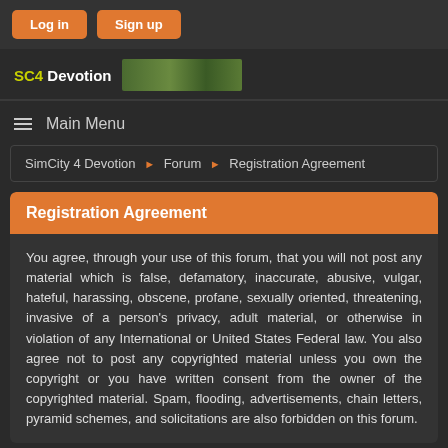Log in  Sign up
[Figure (logo): SC4 Devotion logo with banner image]
Main Menu
SimCity 4 Devotion ► Forum ► Registration Agreement
Registration Agreement
You agree, through your use of this forum, that you will not post any material which is false, defamatory, inaccurate, abusive, vulgar, hateful, harassing, obscene, profane, sexually oriented, threatening, invasive of a person's privacy, adult material, or otherwise in violation of any International or United States Federal law. You also agree not to post any copyrighted material unless you own the copyright or you have written consent from the owner of the copyrighted material. Spam, flooding, advertisements, chain letters, pyramid schemes, and solicitations are also forbidden on this forum.